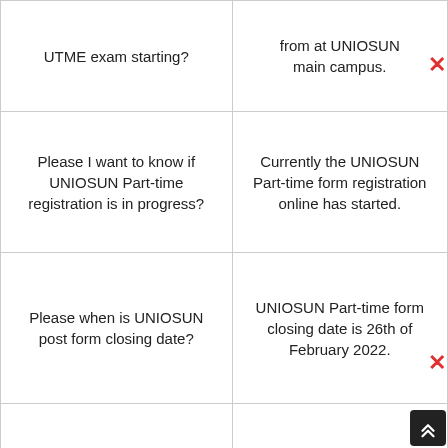| Question | Answer |
| --- | --- |
| UTME exam starting? | from at UNIOSUN main campus. |
| Please I want to know if UNIOSUN Part-time registration is in progress? | Currently the UNIOSUN Part-time form registration online has started. |
| Please when is UNIOSUN post form closing date? | UNIOSUN Part-time form closing date is 26th of February 2022. |
| Will there be exam this year? | Yes there will be an entrance exam for all eligible candidates. |
|  | UNIOSUN Part-time |